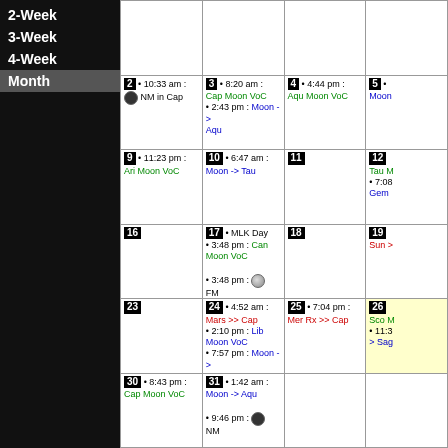2-Week
3-Week
4-Week
Month (selected)
| Col1 | Col2 | Col3 | Col4 |
| --- | --- | --- | --- |
|  |  |  |  |
| 2 • 10:33 am: NM in Cap | 3 • 8:20 am: Cap Moon VoC • 2:43 pm: Moon -> Aqu | 4 • 4:44 pm: Aqu Moon VoC | 5 •  Moon... |
| 9 • 11:23 pm: Ari Moon VoC | 10 • 6:47 am: Moon -> Tau | 11 | 12 Tau M... • 7:08 Gem |
| 16 | 17 • MLK Day • 3:48 pm: Can Moon VoC • 3:48 pm: FM in Can • 8:03 pm: Moon -> Leo | 18 | 19 Sun >... |
| 23 | 24 • 4:52 am: Mars >> Cap • 2:10 pm: Lib Moon VoC • 7:57 pm: Moon -> Sco | 25 • 7:04 pm: Mer Rx >> Cap | 26 Sco M... • 11:3... > Sag |
| 30 • 8:43 pm: Cap Moon VoC | 31 • 1:42 am: Moon -> Aqu • 9:46 pm: NM... |  |  |